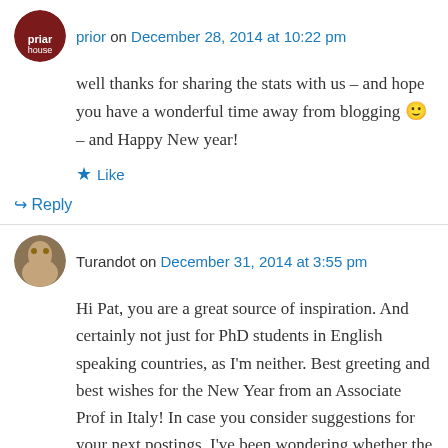prior on December 28, 2014 at 10:22 pm
well thanks for sharing the stats with us – and hope you have a wonderful time away from blogging 🙂 – and Happy New year!
Like
↪ Reply
Turandot on December 31, 2014 at 3:55 pm
Hi Pat, you are a great source of inspiration. And certainly not just for PhD students in English speaking countries, as I'm neither. Best greeting and best wishes for the New Year from an Associate Prof in Italy! In case you consider suggestions for your next postings, I've been wondering whether the 'kinesthetic writers'